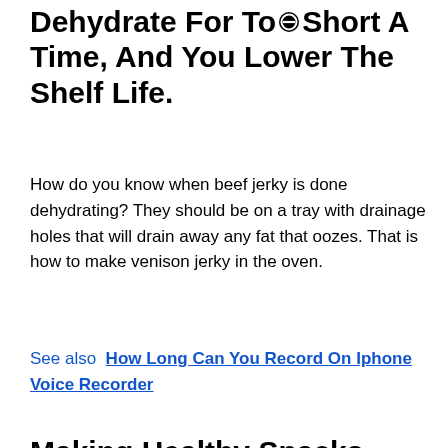Dehydrate For Too Short A Time, And You Lower The Shelf Life.
How do you know when beef jerky is done dehydrating? They should be on a tray with drainage holes that will drain away any fat that oozes. That is how to make venison jerky in the oven.
See also  How Long Can You Record On Iphone Voice Recorder
Making Healthy Snacks Doesn't Have To Be Difficult When You Can Dehydrate Your Own Fruit Chips And Jerky.